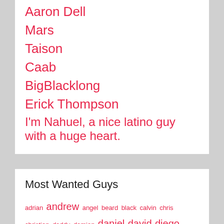Aaron Dell
Mars
Taison
Caab
BigBlacklong
Erick Thompson
I'm Nahuel, a nice latino guy with a huge heart.
Most Wanted Guys
adrian andrew angel beard black calvin chris christian daddy damian daniel david diego dylan ethan fansly follow harry https instagram jackson jacob james johnny